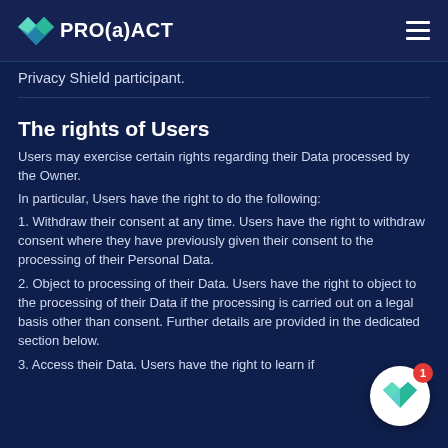PRO(a)ACT
Privacy Shield participant.
The rights of Users
Users may exercise certain rights regarding their Data processed by the Owner.
In particular, Users have the right to do the following:
1. Withdraw their consent at any time. Users have the right to withdraw consent where they have previously given their consent to the processing of their Personal Data.
2. Object to processing of their Data. Users have the right to object to the processing of their Data if the processing is carried out on a legal basis other than consent. Further details are provided in the dedicated section below.
3. Access their Data. Users have the right to learn if